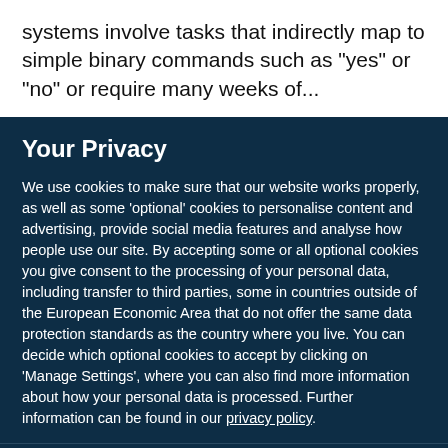systems involve tasks that indirectly map to simple binary commands such as "yes" or "no" or require many weeks of...
Your Privacy
We use cookies to make sure that our website works properly, as well as some ‘optional’ cookies to personalise content and advertising, provide social media features and analyse how people use our site. By accepting some or all optional cookies you give consent to the processing of your personal data, including transfer to third parties, some in countries outside of the European Economic Area that do not offer the same data protection standards as the country where you live. You can decide which optional cookies to accept by clicking on ‘Manage Settings’, where you can also find more information about how your personal data is processed. Further information can be found in our privacy policy.
Accept all cookies
Manage preferences